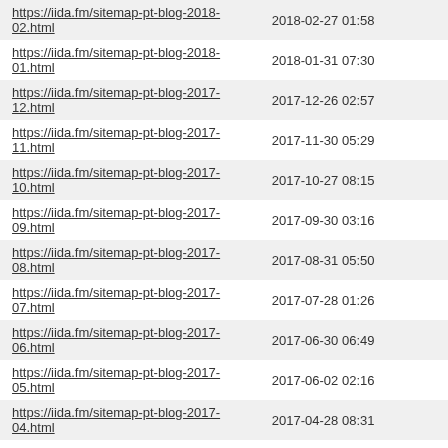| https://iida.fm/sitemap-pt-blog-2018-02.html | 2018-02-27 01:58 |
| https://iida.fm/sitemap-pt-blog-2018-01.html | 2018-01-31 07:30 |
| https://iida.fm/sitemap-pt-blog-2017-12.html | 2017-12-26 02:57 |
| https://iida.fm/sitemap-pt-blog-2017-11.html | 2017-11-30 05:29 |
| https://iida.fm/sitemap-pt-blog-2017-10.html | 2017-10-27 08:15 |
| https://iida.fm/sitemap-pt-blog-2017-09.html | 2017-09-30 03:16 |
| https://iida.fm/sitemap-pt-blog-2017-08.html | 2017-08-31 05:50 |
| https://iida.fm/sitemap-pt-blog-2017-07.html | 2017-07-28 01:26 |
| https://iida.fm/sitemap-pt-blog-2017-06.html | 2017-06-30 06:49 |
| https://iida.fm/sitemap-pt-blog-2017-05.html | 2017-06-02 02:16 |
| https://iida.fm/sitemap-pt-blog-2017-04.html | 2017-04-28 08:31 |
| https://iida.fm/sitemap-pt-blog-2017-03.html | 2017-03-31 06:42 |
| https://iida.fm/sitemap-pt-blog-2017-02.html | 2017-02-28 23:10 |
| https://iida.fm/sitemap-pt-blog-2017-01.html | 2017-01-31 07:25 |
| https://iida.fm/sitemap-pt-blog-2016-12.html | 2016-12-30 06:38 |
| https://iida.fm/sitemap-pt-blog-2016-11.html | 2016-11-30 12:03 |
| https://iida.fm/sitemap-pt-blog-2016-10.html | 2016-10-28 00:04 |
| https://iida.fm/sitemap-pt-blog-2016-09.html | 2016-09-30 00:22 |
| https://iida.fm/sitemap-pt-blog-2016-08.html | 2016-10-27 04:16 |